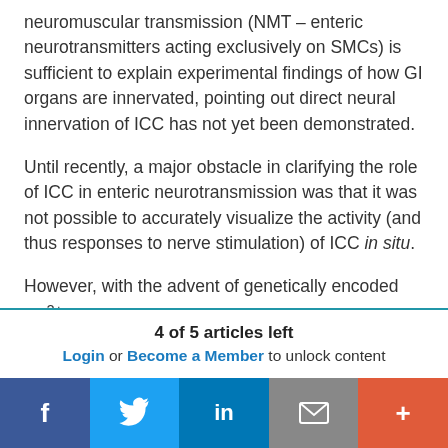neuromuscular transmission (NMT — enteric neurotransmitters acting exclusively on SMCs) is sufficient to explain experimental findings of how GI organs are innervated, pointing out direct neural innervation of ICC has not yet been demonstrated.
Until recently, a major obstacle in clarifying the role of ICC in enteric neurotransmission was that it was not possible to accurately visualize the activity (and thus responses to nerve stimulation) of ICC in situ.
However, with the advent of genetically encoded Ca2+ indicators (GECIs), it has now become possible to
4 of 5 articles left
Login or Become a Member to unlock content